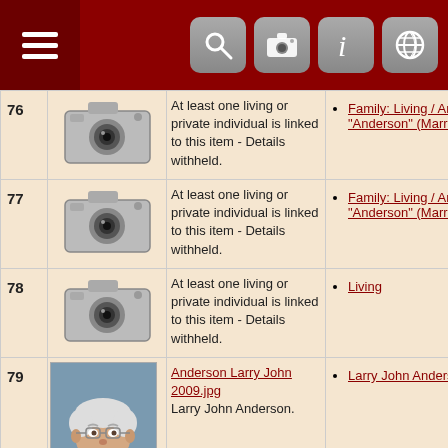Navigation header with hamburger menu and icons
| # | Image | Description | Links |
| --- | --- | --- | --- |
| 76 | [camera icon] | At least one living or private individual is linked to this item - Details withheld. | Family: Living / Amy, "Anderson" (Married) |
| 77 | [camera icon] | At least one living or private individual is linked to this item - Details withheld. | Family: Living / Amy, "Anderson" (Married) |
| 78 | [camera icon] | At least one living or private individual is linked to this item - Details withheld. | Living |
| 79 | [photo of Larry John Anderson] | Anderson Larry John 2009.jpg
Larry John Anderson. | Larry John Anderson |
| 80 | [camera icon] | At least one living or private individual is linked to this item - | Living |